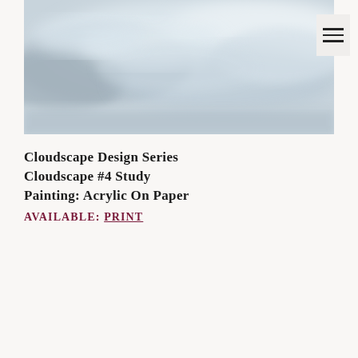[Figure (photo): Abstract cloudscape painting in pale blue-grey tones, acrylic on paper, showing soft cloud formations with muted colors]
Cloudscape Design Series
Cloudscape #4 Study
Painting: Acrylic On Paper
AVAILABLE: PRINT